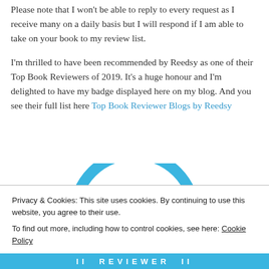Please note that I won't be able to reply to every request as I receive many on a daily basis but I will respond if I am able to take on your book to my review list.
I'm thrilled to have been recommended by Reedsy as one of their Top Book Reviewers of 2019. It's a huge honour and I'm delighted to have my badge displayed here on my blog. And you see their full list here Top Book Reviewer Blogs by Reedsy
[Figure (logo): Circular badge logo in blue for a book reviewer, partially visible — shows an arc at top and 'REVIEWER' text at bottom]
Privacy & Cookies: This site uses cookies. By continuing to use this website, you agree to their use.
To find out more, including how to control cookies, see here: Cookie Policy